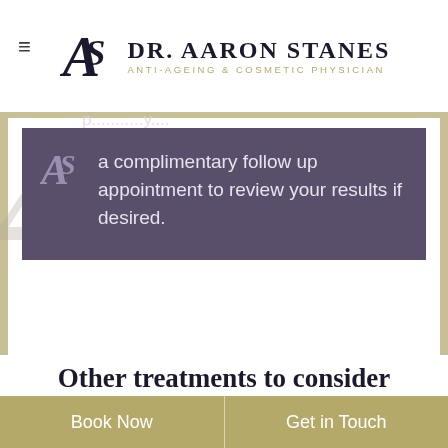DR. AARON STANES ANTI-AGEING & COSMETIC PHYSICIAN
a complimentary follow up appointment to review your results if desired.
Other treatments to consider
Book Now | Get in Touch